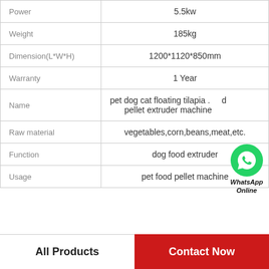|  |  |
| --- | --- |
| Power | 5.5kw |
| Weight | 185kg |
| Dimension(L*W*H) | 1200*1120*850mm |
| Warranty | 1 Year |
| Name | pet dog cat floating tilapia .  .d pellet extruder machine |
| Raw material | vegetables,corn,beans,meat,etc. |
| Function | dog food extruder |
| Usage | pet food pellet machine |
All Products
Contact Now